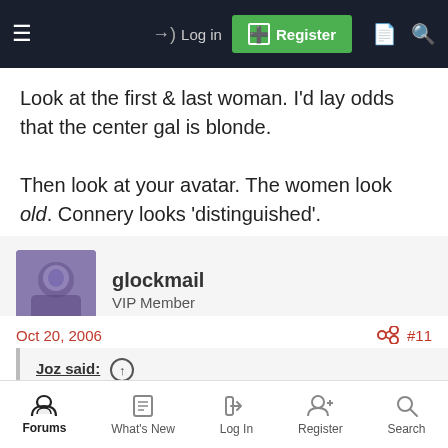Log in | Register
Look at the first & last woman. I'd lay odds that the center gal is blonde.
Then look at your avatar. The women look old. Connery looks 'distinguished'.
glockmail
VIP Member
Oct 20, 2006  #11
Joz said:
My opinion.
Forums | What's New | Log In | Register | Search